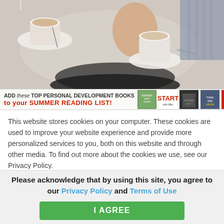[Figure (photo): Overhead view of coffee cups and saucers on a marble/light surface, a hand holding a cup, and a woven textile in the corner — lifestyle/blog photo.]
[Figure (infographic): Ad banner: 'ADD these TOP PERSONAL DEVELOPMENT BOOKS to your SUMMER READING LIST!' with thumbnail images of book covers.]
This website stores cookies on your computer. These cookies are used to improve your website experience and provide more personalized services to you, both on this website and through other media. To find out more about the cookies we use, see our Privacy Policy.
We won't track your information when you visit our site. But in order to comply with your
Please acknowledge that by using this site, you agree to our Privacy Policy and Terms of Use
I AGREE